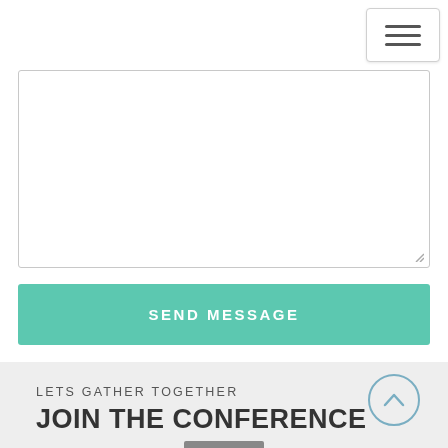[Figure (screenshot): Navigation hamburger menu button in top right corner]
[Figure (screenshot): Empty textarea input box for message]
SEND MESSAGE
LETS GATHER TOGETHER
JOIN THE CONFERENCE
[Figure (photo): Partial photo of people at conference, visible at bottom]